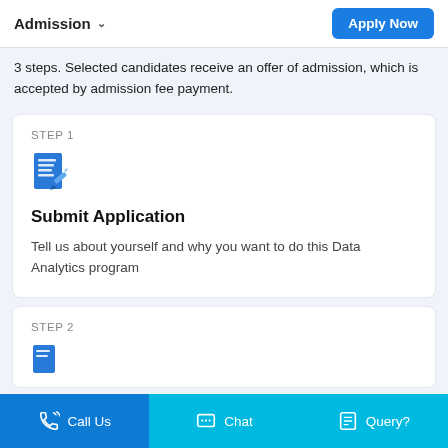Admission  ∨   Apply Now
3 steps. Selected candidates receive an offer of admission, which is accepted by admission fee payment.
STEP 1
Submit Application
Tell us about yourself and why you want to do this Data Analytics program
STEP 2
Call Us  Chat  Query?